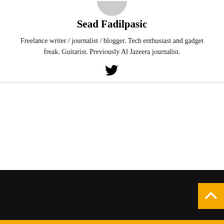[Figure (photo): Partial view of circular profile photo avatar at top of author bio card]
Sead Fadilpasic
Freelance writer / journalist / blogger. Tech enthusiast and gadget freak. Guitarist. Previously Al Jazeera journalist.
[Figure (illustration): Twitter bird social media icon]
[Figure (illustration): Orange back-to-top button with upward arrow chevron in bottom-right corner, on black footer bar]